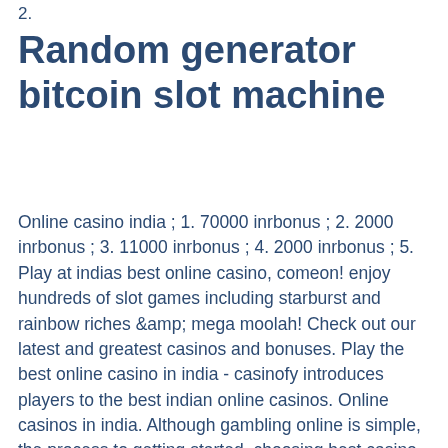2.
Random generator bitcoin slot machine
Online casino india ; 1. 70000 inrbonus ; 2. 2000 inrbonus ; 3. 11000 inrbonus ; 4. 2000 inrbonus ; 5. Play at indias best online casino, comeon! enjoy hundreds of slot games including starburst and rainbow riches &amp; mega moolah! Check out our latest and greatest casinos and bonuses. Play the best online casino in india - casinofy introduces players to the best indian online casinos. Online casinos in india. Although gambling online is simple, the process to getting started, choosing best casino site and making a deposit can be. Our top online casinos in india ; 4. Easy to navigate website ; 5. Game selection is huge at 1300+ titles ; 5. Many international online casinos are now offering their services to indian nationals and